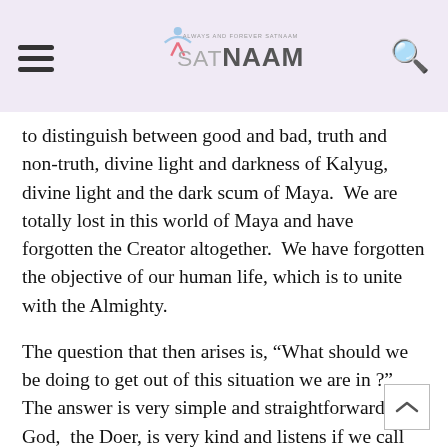Always and Forever Satnaam — SATNAAM
to distinguish between good and bad, truth and non-truth, divine light and darkness of Kalyug, divine light and the dark scum of Maya.  We are totally lost in this world of Maya and have forgotten the Creator altogether.  We have forgotten the objective of our human life, which is to unite with the Almighty.
The question that then arises is, “What should we be doing to get out of this situation we are in ?”   The answer is very simple and straightforward.  God,  the Doer, is very kind and listens if we call Him with full and complete belief, trust, faith, devotion and love.  He does listen if we pray to Him and ask Him to hell us to take us out of this forty foot deep well of scum we have been hanging in for such a long time.   God is full of kindness and will give us the Gur Parsaad of His Naam, Puran Bandgi and Seva.  With this we will be able to bring Maya under our control and win over our own mind and clean up our Hirda completely, fill